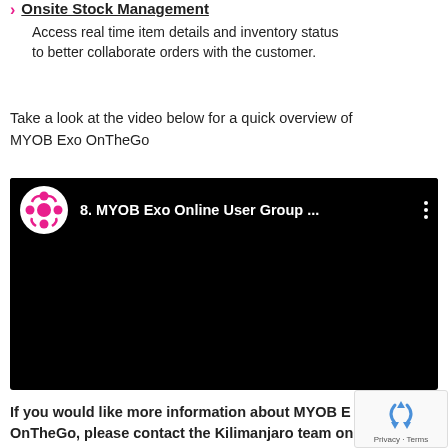Onsite Stock Management – Access real time item details and inventory status to better collaborate orders with the customer.
Take a look at the video below for a quick overview of MYOB Exo OnTheGo
[Figure (screenshot): Embedded video player (black background) showing MYOB Exo Online User Group video with MYOB logo and three-dot menu icon]
If you would like more information about MYOB Exo OnTheGo, please contact the Kilimanjaro team on